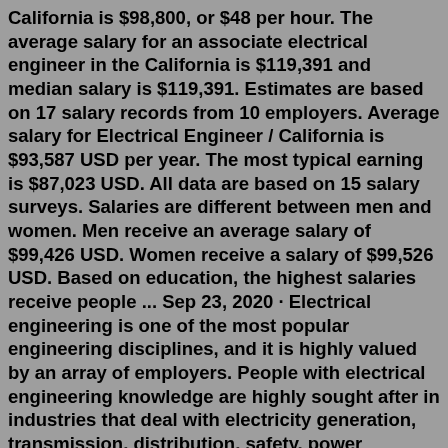California is $98,800, or $48 per hour. The average salary for an associate electrical engineer in the California is $119,391 and median salary is $119,391. Estimates are based on 17 salary records from 10 employers. Average salary for Electrical Engineer / California is $93,587 USD per year. The most typical earning is $87,023 USD. All data are based on 15 salary surveys. Salaries are different between men and women. Men receive an average salary of $99,426 USD. Women receive a salary of $99,526 USD. Based on education, the highest salaries receive people ... Sep 23, 2020 · Electrical engineering is one of the most popular engineering disciplines, and it is highly valued by an array of employers. People with electrical engineering knowledge are highly sought after in industries that deal with electricity generation, transmission, distribution, safety, power generation, motors, motor control systems, and automation. Are you looking to advance your electrical ... Aug 22, 2022 · The average electrical engineer in California earns $101,651 annually. The